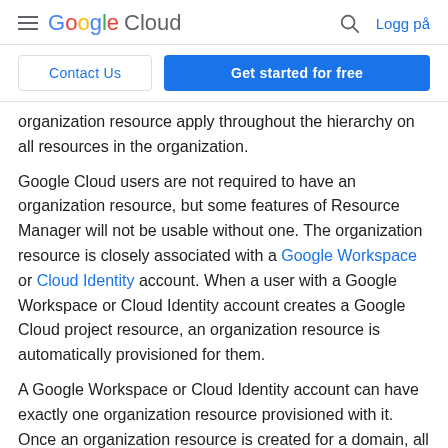Google Cloud — Logg på
Contact Us | Get started for free
organization resource apply throughout the hierarchy on all resources in the organization.
Google Cloud users are not required to have an organization resource, but some features of Resource Manager will not be usable without one. The organization resource is closely associated with a Google Workspace or Cloud Identity account. When a user with a Google Workspace or Cloud Identity account creates a Google Cloud project resource, an organization resource is automatically provisioned for them.
A Google Workspace or Cloud Identity account can have exactly one organization resource provisioned with it. Once an organization resource is created for a domain, all new